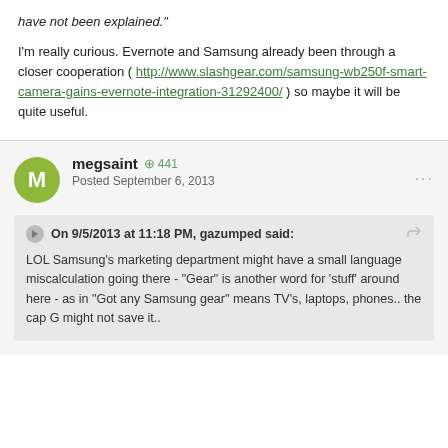have not been explained."
I'm really curious. Evernote and Samsung already been through a closer cooperation ( http://www.slashgear.com/samsung-wb250f-smart-camera-gains-evernote-integration-31292400/ ) so maybe it will be quite useful.
megsaint +441 Posted September 6, 2013
On 9/5/2013 at 11:18 PM, gazumped said:
LOL Samsung's marketing department might have a small language miscalculation going there - "Gear" is another word for 'stuff' around here - as in "Got any Samsung gear" means TV's, laptops, phones.. the cap G might not save it..